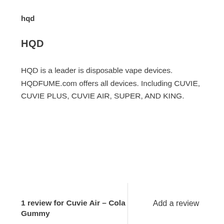hqd
HQD
HQD is a leader is disposable vape devices. HQDFUME.com offers all devices. Including CUVIE, CUVIE PLUS, CUVIE AIR, SUPER, AND KING.
1 review for Cuvie Air – Cola Gummy
Add a review